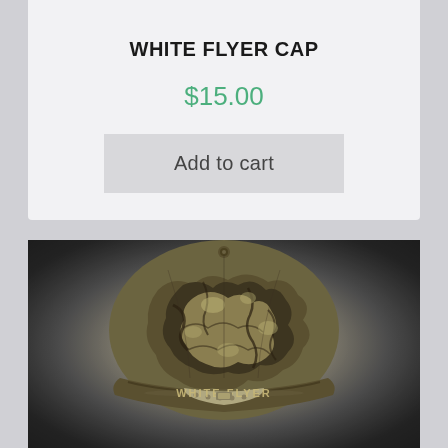WHITE FLYER CAP
$15.00
Add to cart
[Figure (photo): Back view of a camouflage baseball cap with 'WHITE FLYER' text embroidered on the strap/back panel]